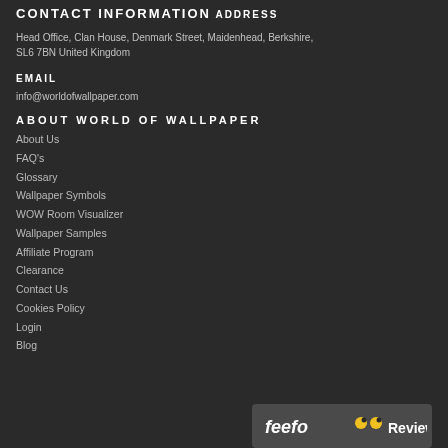CONTACT INFORMATION
ADDRESS
Head Office, Clan House, Denmark Street, Maidenhead, Berkshire, SL6 7BN United Kingdom
EMAIL
info@worldofwallpaper.com
ABOUT WORLD OF WALLPAPER
About Us
FAQ's
Glossary
Wallpaper Symbols
WOW Room Visualizer
Wallpaper Samples
Affiliate Program
Clearance
Contact Us
Cookies Policy
Login
Blog
[Figure (logo): Feefo Reviews badge with yellow eyes icon]